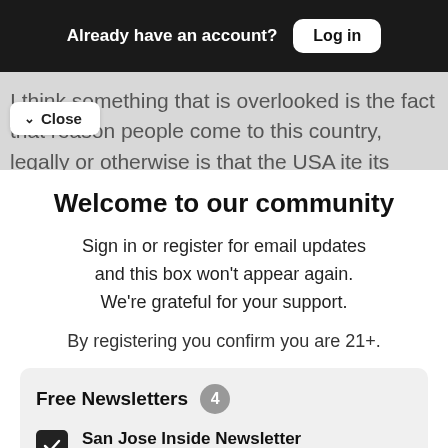Already have an account? Log in
I think something that is overlooked is the fact that reason people come to this country, legally or otherwise is that the USA ite its flaws works. It is this system of laws
Close
Welcome to our community
Sign in or register for email updates and this box won't appear again. We're grateful for your support.
By registering you confirm you are 21+.
Free Newsletters 4
San Jose Inside Newsletter (weekly)
News and politics from the capital